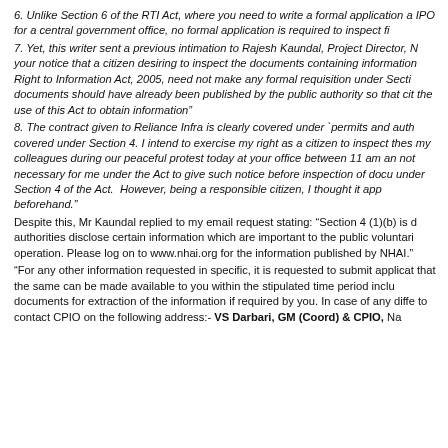6. Unlike Section 6 of the RTI Act, where you need to write a formal application a IPO for a central government office, no formal application is required to inspect fi
7. Yet, this writer sent a previous intimation to Rajesh Kaundal, Project Director, N your notice that a citizen desiring to inspect the documents containing information Right to Information Act, 2005, need not make any formal requisition under Secti documents should have already been published by the public authority so that cit the use of this Act to obtain information"
8. The contract given to Reliance Infra is clearly covered under `permits and auth covered under Section 4. I intend to exercise my right as a citizen to inspect thes my colleagues during our peaceful protest today at your office between 11 am an not necessary for me under the Act to give such notice before inspection of docu under Section 4 of the Act. However, being a responsible citizen, I thought it app beforehand."
Despite this, Mr Kaundal replied to my email request stating: "Section 4 (1)(b) is d authorities disclose certain information which are important to the public voluntari operation. Please log on to www.nhai.org for the information published by NHAI."
"For any other information requested in specific, it is requested to submit applicat that the same can be made available to you within the stipulated time period inclu documents for extraction of the information if required by you. In case of any diffe to contact CPIO on the following address:- VS Darbari, GM (Coord) & CPIO, Na